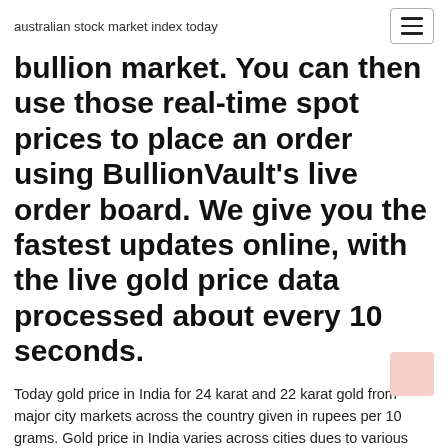australian stock market index today
bullion market. You can then use those real-time spot prices to place an order using BullionVault's live order board. We give you the fastest updates online, with the live gold price data processed about every 10 seconds.
Today gold price in India for 24 karat and 22 karat gold from major city markets across the country given in rupees per 10 grams. Gold price in India varies across cities dues to various local market factors like demand and supply of gold, state government taxes and transportation charges of physical gold.
Gold Prices - 100 Year